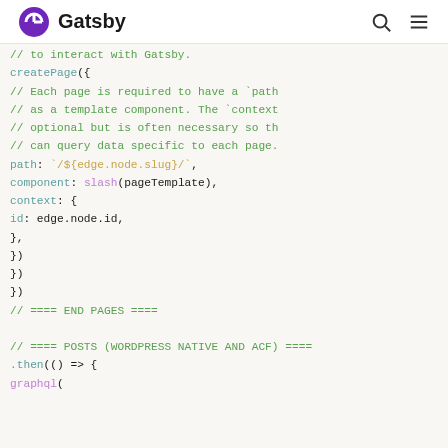Gatsby
// to interact with Gatsby.
    createPage({
      // Each page is required to have a `path
      // as a template component. The `context
      // optional but is often necessary so th
      // can query data specific to each page.
      path: `/${edge.node.slug}/`,
      component: slash(pageTemplate),
      context: {
        id: edge.node.id,
      },
    })
  })
})
// ==== END PAGES ====

// ==== POSTS (WORDPRESS NATIVE AND ACF) ====
.then(() => {
  graphql(